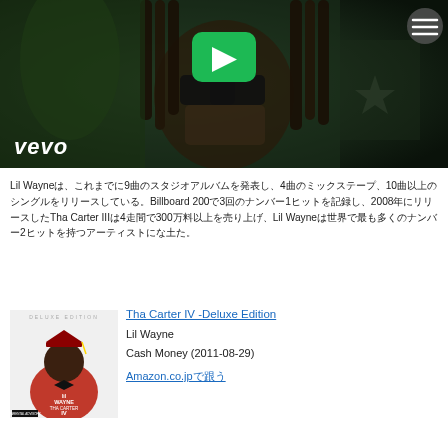[Figure (screenshot): Vevo music video thumbnail showing a person with dreadlocks and sunglasses. A green YouTube-style play button is visible in the center, a circular menu button in the top right, and the Vevo logo in italic white text at the bottom left.]
Lil Wayneは、これまでに9枚のスタジオアルバムを発表し、4枚のミックステープ、10枚以上のシングルをリリースしている。Billboard 200で3回のナンバー1ヒットを記録し、2008年にリリースしたTha Carter IIIは4週間で300万枚以上を売り上げ、Lil Wayneは世界で最も多くのナンバー2ヒットを持つアーティストになった。
[Figure (photo): Album cover for Tha Carter IV Deluxe Edition by Lil Wayne. Shows a young Black boy in graduation cap and gown (red), with Lil Wayne text. Parental Advisory label at bottom left. White background with DELUXE EDITION text at top.]
Tha Carter IV -Deluxe Edition
Lil Wayne
Cash Money (2011-08-29)
Amazon.co.jpで購入する